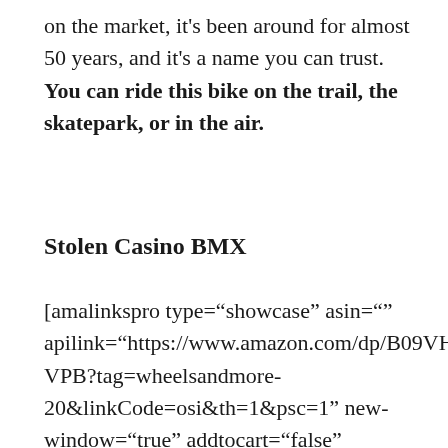on the market, it's been around for almost 50 years, and it's a name you can trust. You can ride this bike on the trail, the skatepark, or in the air.
Stolen Casino BMX
[amalinkspro type="showcase" asin="" apilink="https://www.amazon.com/dp/B09VH6ZVPB?tag=wheelsandmore-20&linkCode=osi&th=1&psc=1" new-window="true" addtocart="false" nofollow="true" sc-id="5" imgs="LargeImage" link-imgs="false" btn-color="#ff9900" btn-